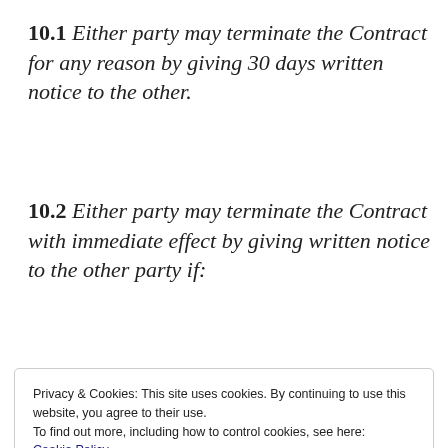10.1 Either party may terminate the Contract for any reason by giving 30 days written notice to the other.
10.2 Either party may terminate the Contract with immediate effect by giving written notice to the other party if:
Privacy & Cookies: This site uses cookies. By continuing to use this website, you agree to their use.
To find out more, including how to control cookies, see here:
Cookie Policy
Close and accept
suspend, or ceases or threatens to cease to